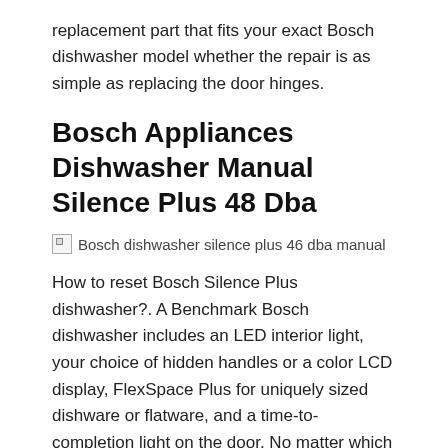replacement part that fits your exact Bosch dishwasher model whether the repair is as simple as replacing the door hinges.
Bosch Appliances Dishwasher Manual Silence Plus 48 Dba
[Figure (photo): Broken image placeholder with alt text: Bosch dishwasher silence plus 46 dba manual]
How to reset Bosch Silence Plus dishwasher?. A Benchmark Bosch dishwasher includes an LED interior light, your choice of hidden handles or a color LCD display, FlexSpace Plus for uniquely sized dishware or flatware, and a time-to-completion light on the door. No matter which model you choose, you can be confident that each Bosch dishwasher is among the very quietest in its category. Bosch 05/05/2013B B· Dishwasher silence plus model 46 DBA won't run - has e15 lit up on screen - Answered by a verified Appliance Technician We use